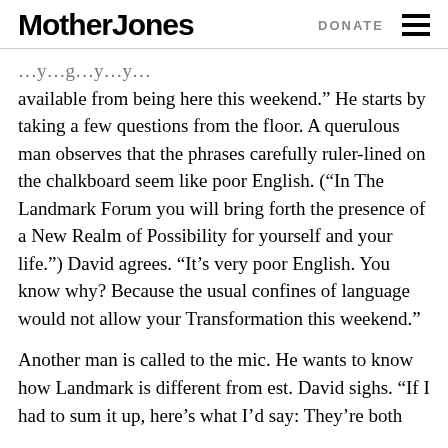Mother Jones | DONATE
available from being here this weekend.” He starts by taking a few questions from the floor. A querulous man observes that the phrases carefully ruler-lined on the chalkboard seem like poor English. (“In The Landmark Forum you will bring forth the presence of a New Realm of Possibility for yourself and your life.”) David agrees. “It’s very poor English. You know why? Because the usual confines of language would not allow your Transformation this weekend.”
Another man is called to the mic. He wants to know how Landmark is different from est. David sighs. “If I had to sum it up, here’s what I’d say: They’re both